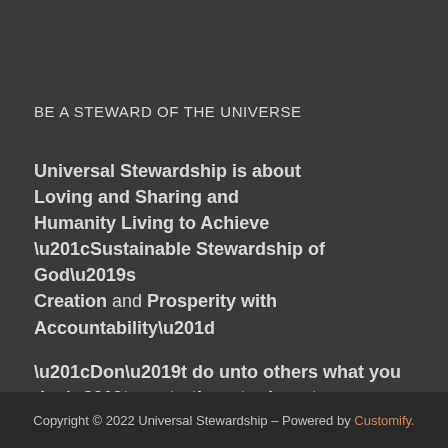BE A STEWARD OF THE UNIVERSE
Universal Stewardship is about Loving and Sharing and Humanity Living to Achieve “Sustainable Stewardship of God’s Creation and Prosperity with Accountability”
“Don’t do unto others what you don’t want others to do unto you.”
Copyright © 2022 Universal Stewardship – Powered by Customify.